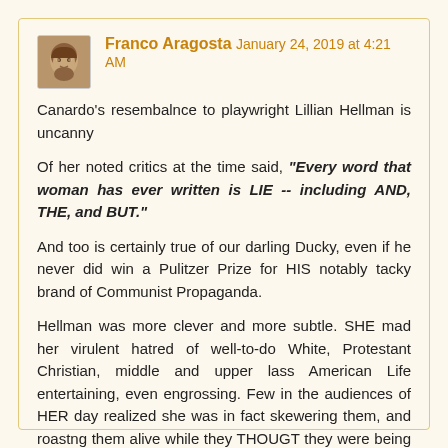Franco Aragosta January 24, 2019 at 4:21 AM
Canardo's resembalnce to playwright Lillian Hellman is uncanny

Of her noted critics at the time said, "Every word that woman has ever written is LIE -- including AND, THE, and BUT."

And too is certainly true of our darling Ducky, even if he never did win a Pulitzer Prize for HIS notably tacky brand of Communist Propaganda.

Hellman was more clever and more subtle. SHE mad her virulent hatred of well-to-do White, Protestant Christian, middle and upper lass American Life entertaining, even engrossing. Few in the audiences of HER day realized she was in fact skewering them, and roastng them alive while they THOUGT they were being entertained.